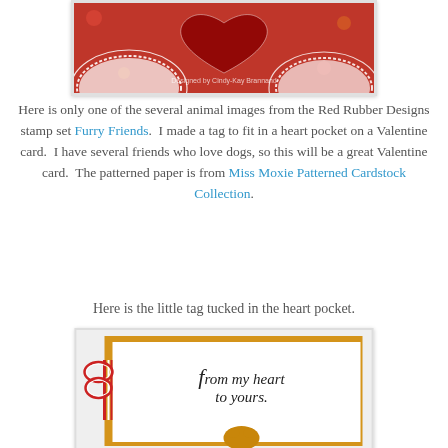[Figure (photo): Top portion of a Valentine card with red patterned background and white doily decorations and a heart shape]
Here is only one of the several animal images from the Red Rubber Designs stamp set Furry Friends.  I made a tag to fit in a heart pocket on a Valentine card.  I have several friends who love dogs, so this will be a great Valentine card.  The patterned paper is from Miss Moxie Patterned Cardstock Collection.
Here is the little tag tucked in the heart pocket.
[Figure (photo): A small tag card with gold border on white background, with red and white twine bow on the left, and the text 'from my heart to yours.' in italic font, with a small animal image at the bottom]